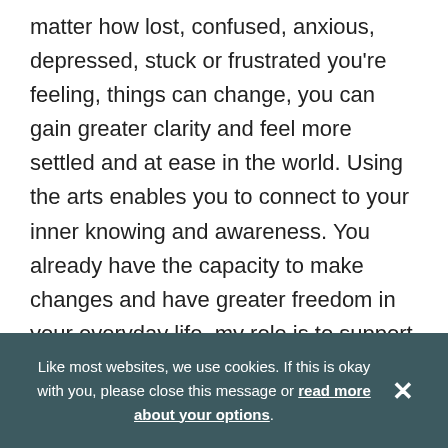matter how lost, confused, anxious, depressed, stuck or frustrated you're feeling, things can change, you can gain greater clarity and feel more settled and at ease in the world. Using the arts enables you to connect to your inner knowing and awareness. You already have the capacity to make changes and have greater freedom in your everyday life, my role is to support and guide you in that process. You may want to develop more balance in your day to day life or enable more creativity and ease in your life. I can support you in
Like most websites, we use cookies. If this is okay with you, please close this message or read more about your options.